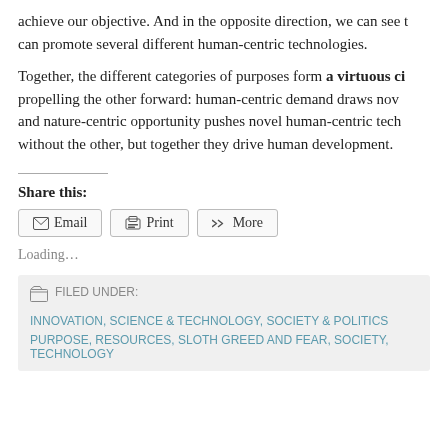achieve our objective. And in the opposite direction, we can see that one purpose can promote several different human-centric technologies.
Together, the different categories of purposes form a virtuous circle, each propelling the other forward: human-centric demand draws novel technologies, and nature-centric opportunity pushes novel human-centric technologies. Neither without the other, but together they drive human development.
Share this:
Email | Print | More
Loading...
FILED UNDER: INNOVATION, SCIENCE & TECHNOLOGY, SOCIETY & POLITICS, PURPOSE, RESOURCES, SLOTH GREED AND FEAR, SOCIETY, TECHNOLOGY